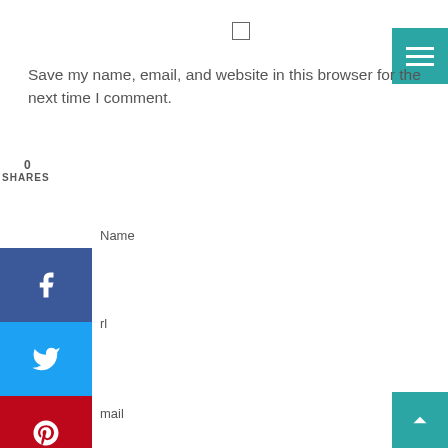Save my name, email, and website in this browser for the next time I comment.
0
SHARES
Name
rl
mail
ase enter an answer in digits:
sixteen =
site is protected by reCAPTCHA and the Google Privacy Policy and ns of Service apply.
omment